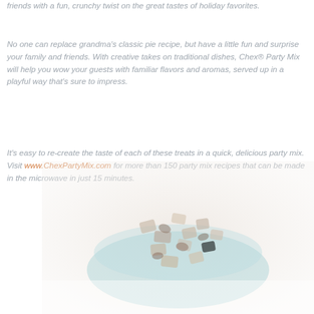friends with a fun, crunchy twist on the great tastes of holiday favorites.
No one can replace grandma's classic pie recipe, but have a little fun and surprise your family and friends. With creative takes on traditional dishes, Chex® Party Mix will help you wow your guests with familiar flavors and aromas, served up in a playful way that's sure to impress.
It's easy to re-create the taste of each of these treats in a quick, delicious party mix. Visit www.ChexPartyMix.com for more than 150 party mix recipes that can be made in the microwave in just 15 minutes.
[Figure (photo): A bowl of Chex party mix snacks, light-colored and crunchy, served in a teal/turquoise bowl, photographed from above at a slight angle on a white background. The image is faded/low saturation.]